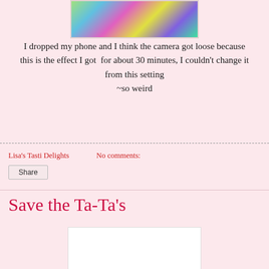[Figure (photo): Colorful psychedelic camera effect image with swirling colors including green, blue, pink, yellow, and purple]
I dropped my phone and I think the camera got loose because this is the effect I got for about 30 minutes, I couldn't change it from this setting
~so weird
Lisa's Tasti Delights    No comments:
Share
Save the Ta-Ta's
[Figure (photo): Bottom image area, partially visible, white background]